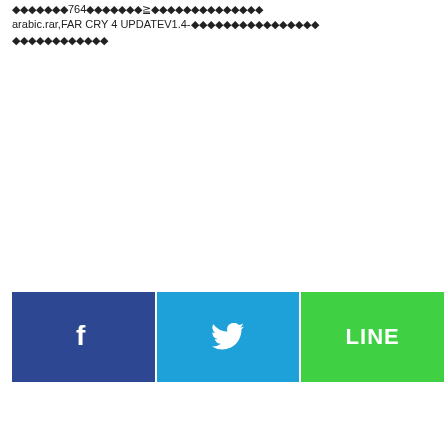◆◆◆◆◆◆◆764◆◆◆◆◆◆◆≧◆◆◆◆◆◆◆◆◆◆◆◆◆◆ arabic.rar,FAR CRY 4 UPDATEV1.4-◆◆◆◆◆◆◆◆◆◆◆◆◆◆◆◆◆◆◆◆◆◆◆◆◆◆
[Figure (other): Social share buttons: Facebook (dark blue with f icon), Twitter (cyan with bird icon), LINE (green with LINE text)]